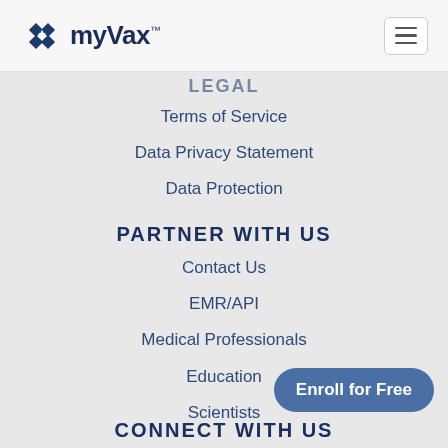myVax™
LEGAL
Terms of Service
Data Privacy Statement
Data Protection
PARTNER WITH US
Contact Us
EMR/API
Medical Professionals
Education
Scientists
CONNECT WITH US
Enroll for Free